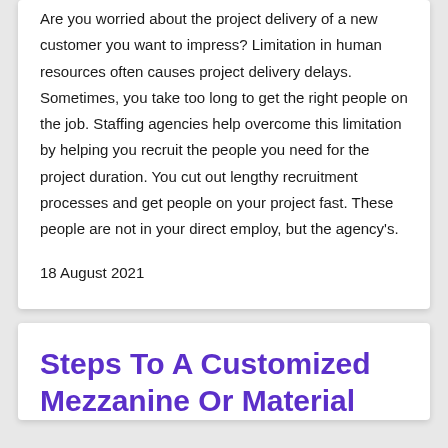Are you worried about the project delivery of a new customer you want to impress? Limitation in human resources often causes project delivery delays. Sometimes, you take too long to get the right people on the job. Staffing agencies help overcome this limitation by helping you recruit the people you need for the project duration. You cut out lengthy recruitment processes and get people on your project fast. These people are not in your direct employ, but the agency's.
18 August 2021
Steps To A Customized Mezzanine Or Material